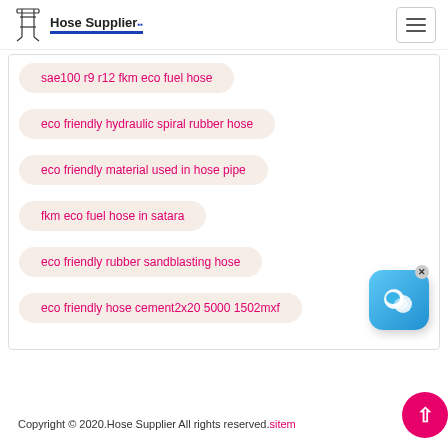Hose Supplier
sae100 r9 r12 fkm eco fuel hose
eco friendly hydraulic spiral rubber hose
eco friendly material used in hose pipe
fkm eco fuel hose in satara
eco friendly rubber sandblasting hose
eco friendly hose cement2x20 5000 1502mxf
Copyright © 2020.Hose Supplier All rights reserved.sitem